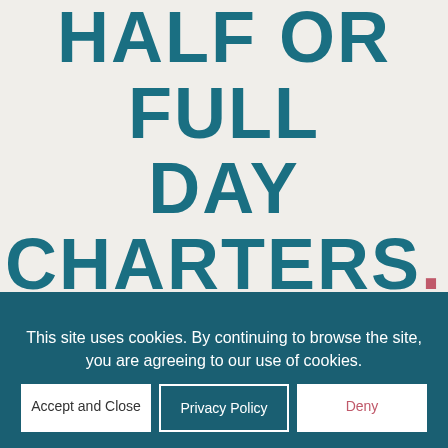HALF OR FULL DAY CHARTERS.
Half Day Charters last 5 hours and Full Day Charters last 8 hours. Times listed are considered to be dock-to-dock, or until anglers on board reach their respective limits.
This site uses cookies. By continuing to browse the site, you are agreeing to our use of cookies. Accept and Close  Privacy Policy  Deny